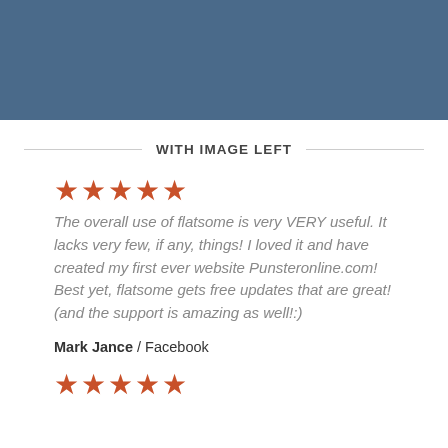[Figure (other): Dark steel-blue banner/header background bar at top of page]
WITH IMAGE LEFT
★★★★★
The overall use of flatsome is very VERY useful. It lacks very few, if any, things! I loved it and have created my first ever website Punsteronline.com! Best yet, flatsome gets free updates that are great! (and the support is amazing as well!:)
Mark Jance / Facebook
★★★★★